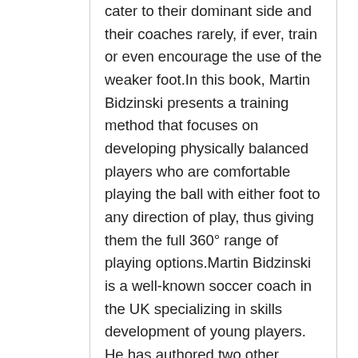cater to their dominant side and their coaches rarely, if ever, train or even encourage the use of the weaker foot.In this book, Martin Bidzinski presents a training method that focuses on developing physically balanced players who are comfortable playing the ball with either foot to any direction of play, thus giving them the full 360° range of playing options.Martin Bidzinski is a well-known soccer coach in the UK specializing in skills development of young players. He has authored two other books and produced 6 DVDs on soccer coaching which are well known and respected throughout the soccer coaching community both in the USA and abroad. He currently resides in Blackburn, Lancashire in